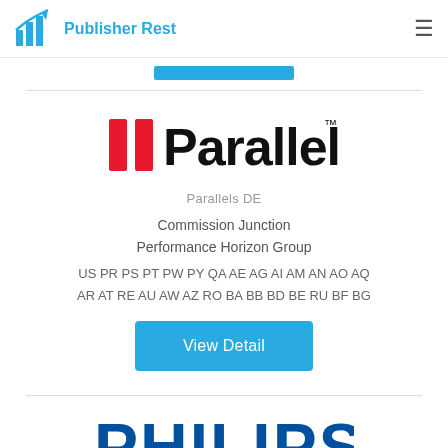Publisher Rest
[Figure (logo): Blue bar/button at top of content area]
[Figure (logo): Parallels logo with two red vertical bars and bold black 'Parallels' text with TM mark]
Parallels DE
Commission Junction
Performance Horizon Group
US PR PS PT PW PY QA AE AG AI AM AN AO AQ AR AT RE AU AW AZ RO BA BB BD BE RU BF BG
View Detail
[Figure (logo): PHILIPS logo in bold blue text]